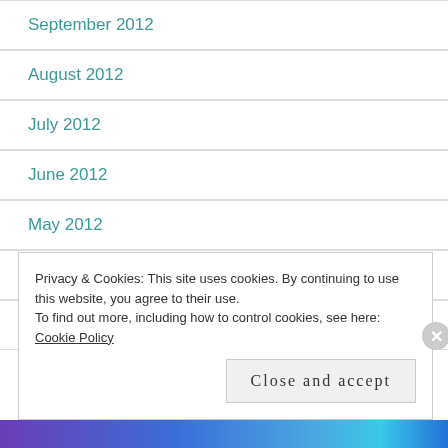September 2012
August 2012
July 2012
June 2012
May 2012
April 2012
March 2012
Privacy & Cookies: This site uses cookies. By continuing to use this website, you agree to their use. To find out more, including how to control cookies, see here: Cookie Policy
Close and accept